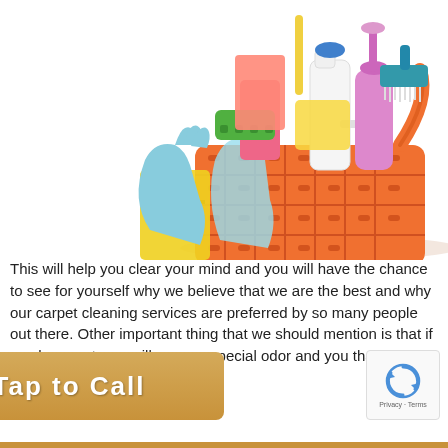[Figure (photo): Photo of an orange cleaning basket filled with cleaning supplies including rubber gloves, spray bottles, sponges, scrub brush, and cleaning cloths on a white background.]
This will help you clear your mind and you will have the chance to see for yourself why we believe that we are the best and why our carpet cleaning services are preferred by so many people out there. Other important thing that we should mention is that if you have pets we will use our special odor a[...] d you that the resul[...]
[Figure (infographic): Tap to Call button with golden/tan background showing a woman on phone and text 'Tap to Call' in white bold letters.]